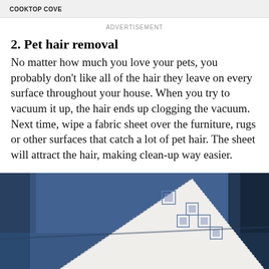COOKTOP COVE
ADVERTISEMENT
2. Pet hair removal
No matter how much you love your pets, you probably don't like all of the hair they leave on every surface throughout your house. When you try to vacuum it up, the hair ends up clogging the vacuum. Next time, wipe a fabric sheet over the furniture, rugs or other surfaces that catch a lot of pet hair. The sheet will attract the hair, making clean-up way easier.
[Figure (photo): A white lace fabric sheet/handkerchief placed on a blue fabric sofa/couch, viewed from above at an angle.]